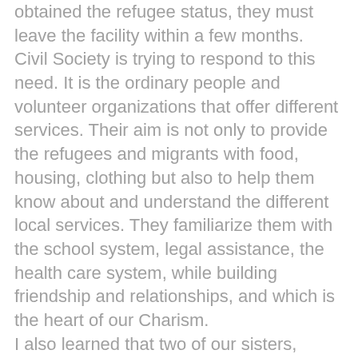obtained the refugee status, they must leave the facility within a few months. Civil Society is trying to respond to this need. It is the ordinary people and volunteer organizations that offer different services. Their aim is not only to provide the refugees and migrants with food, housing, clothing but also to help them know about and understand the different local services. They familiarize them with the school system, legal assistance, the health care system, while building friendship and relationships, and which is the heart of our Charism. I also learned that two of our sisters, Marirosa and Patricia, from the Congregations of the Sisters of St. Joseph of Pinerolo, recently volunteered at a refugee center in Kitsika Greece. These particular migrants and refugees have witnessed genocide in all its horror. And now they are living in conditions that are barely human. Adults and children are in need of food, clothing and care. On their return to Italy they continue to work for the refugees, collecting money, food and warm clothing which they took at the end of